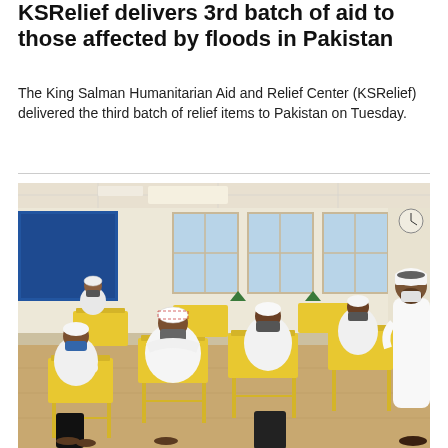KSRelief delivers 3rd batch of aid to those affected by floods in Pakistan
The King Salman Humanitarian Aid and Relief Center (KSRelief) delivered the third batch of relief items to Pakistan on Tuesday.
[Figure (photo): Classroom scene showing several men in white thobes and face masks seated at yellow school desks, socially distanced. A person in white thobe stands at the right side of the room. The room has large windows, a blue bulletin board on the left, and a light wood floor.]